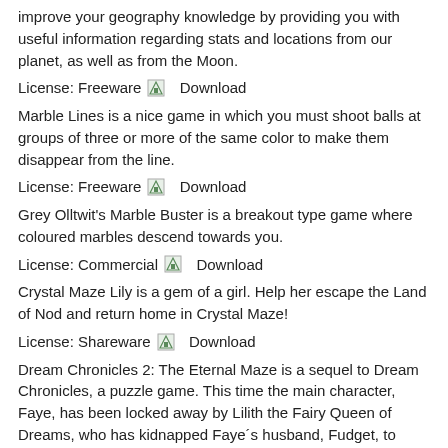improve your geography knowledge by providing you with useful information regarding stats and locations from our planet, as well as from the Moon.
License: Freeware   Download
Marble Lines is a nice game in which you must shoot balls at groups of three or more of the same color to make them disappear from the line.
License: Freeware   Download
Grey Olltwit&#039;s Marble Buster is a breakout type game where coloured marbles descend towards you.
License: Commercial   Download
Crystal Maze Lily is a gem of a girl. Help her escape the Land of Nod and return home in Crystal Maze!
License: Shareware   Download
Dream Chronicles 2: The Eternal Maze is a sequel to Dream Chronicles, a puzzle game. This time the main character, Faye, has been locked away by Lilith the Fairy Queen of Dreams, who has kidnapped Faye´s husband, Fudget, to marry him.